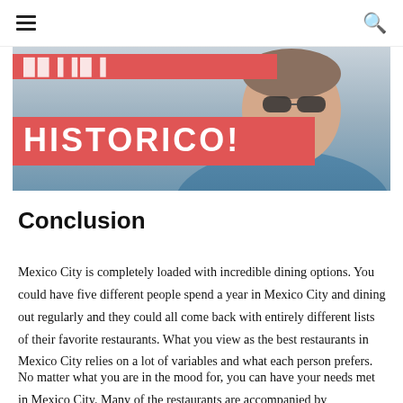≡  🔍
[Figure (photo): Photo of a smiling person with a red banner overlay showing the text 'HISTORICO!' in large white stencil letters, and a partial red banner above with additional text cropped at top.]
Conclusion
Mexico City is completely loaded with incredible dining options. You could have five different people spend a year in Mexico City and dining out regularly and they could all come back with entirely different lists of their favorite restaurants. What you view as the best restaurants in Mexico City relies on a lot of variables and what each person prefers.
No matter what you are in the mood for, you can have your needs met in Mexico City. Many of the restaurants are accompanied by